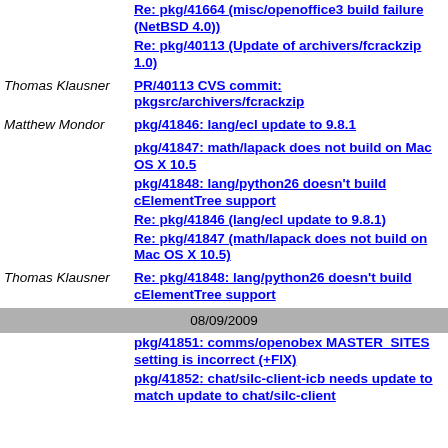Re: pkg/41664 (misc/openoffice3 build failure (NetBSD 4.0))
Re: pkg/40113 (Update of archivers/fcrackzip 1.0)
Thomas Klausner
PR/40113 CVS commit: pkgsrc/archivers/fcrackzip
Matthew Mondor
pkg/41846: lang/ecl update to 9.8.1
pkg/41847: math/lapack does not build on Mac OS X 10.5
pkg/41848: lang/python26 doesn't build cElementTree support
Re: pkg/41846 (lang/ecl update to 9.8.1)
Re: pkg/41847 (math/lapack does not build on Mac OS X 10.5)
Thomas Klausner
Re: pkg/41848: lang/python26 doesn't build cElementTree support
08/09/2009
pkg/41851: comms/openobex MASTER_SITES setting is incorrect (+FIX)
pkg/41852: chat/silc-client-icb needs update to match update to chat/silc-client